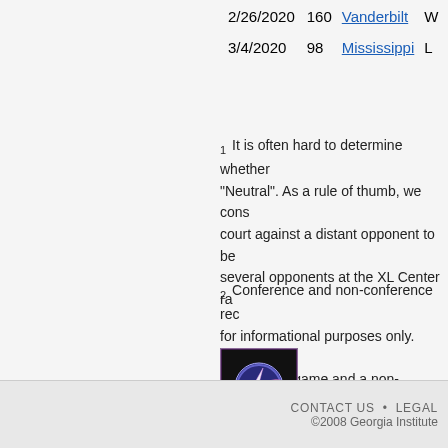| Date | Score | Opponent | Result |
| --- | --- | --- | --- |
| 2/26/2020 | 160 | Vanderbilt | W |
| 3/4/2020 | 98 | Mississippi | L |
1 It is often hard to determine whether "Neutral". As a rule of thumb, we cons... court against a distant opponent to be several opponents at the XL Center ra...
2 Conference and non-conference rec... for informational purposes only. LRMC conference game and a non-conferenc... tough opponent is equally hard to bea... or a different conference.
[Figure (logo): Georgia Tech LRMC globe/lightning logo icon]
CONTACT US • LEGAL ©2008 Georgia Institute